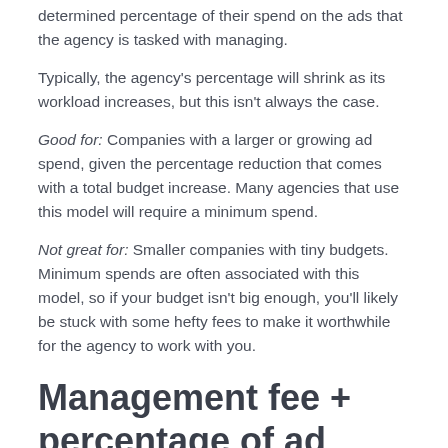determined percentage of their spend on the ads that the agency is tasked with managing.
Typically, the agency's percentage will shrink as its workload increases, but this isn't always the case.
Good for: Companies with a larger or growing ad spend, given the percentage reduction that comes with a total budget increase. Many agencies that use this model will require a minimum spend.
Not great for: Smaller companies with tiny budgets. Minimum spends are often associated with this model, so if your budget isn't big enough, you'll likely be stuck with some hefty fees to make it worthwhile for the agency to work with you.
Management fee + percentage of ad spend pricing
Many mature marketing agencies will charge a